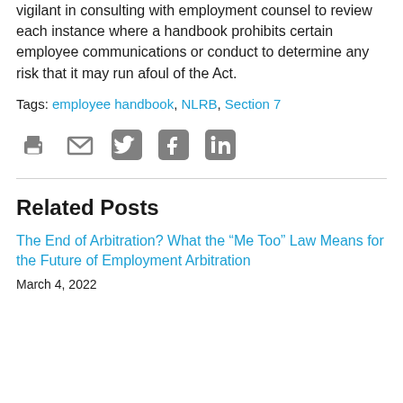vigilant in consulting with employment counsel to review each instance where a handbook prohibits certain employee communications or conduct to determine any risk that it may run afoul of the Act.
Tags: employee handbook, NLRB, Section 7
[Figure (infographic): Row of social sharing icons: print, email, Twitter, Facebook, LinkedIn]
Related Posts
The End of Arbitration? What the “Me Too” Law Means for the Future of Employment Arbitration
March 4, 2022